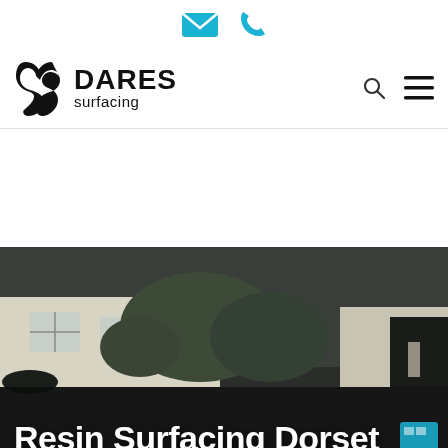[Figure (logo): Email icon (envelope) and phone icon in cyan/teal color, centered at top of page]
[Figure (logo): Dares Surfacing company logo with stylized 'S' icon and text 'DARES surfacing', with search and hamburger menu icons on the right]
[Figure (photo): Photo of a driveway with resin surfacing in front of a house with white walls, windows, and surrounding shrubs/hedges. A garage or outbuilding is visible on the right.]
Resin Surfacing Dorset